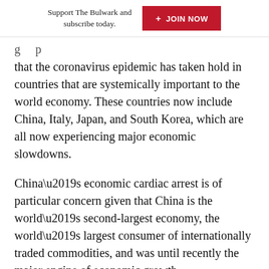Support The Bulwark and subscribe today. + JOIN NOW
that the coronavirus epidemic has taken hold in countries that are systemically important to the world economy. These countries now include China, Italy, Japan, and South Korea, which are all now experiencing major economic slowdowns.
China’s economic cardiac arrest is of particular concern given that China is the world’s second-largest economy, the world’s largest consumer of internationally traded commodities, and was until recently the major engine of economic growth.
All indications now suggest that after growing at